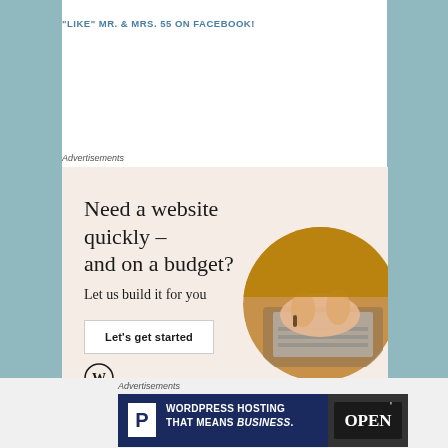"LIKE" MR. & MRS. 55 ON FACEBOOK!
Advertisements
[Figure (illustration): WordPress ad: Need a website quickly – and on a budget? Let us build it for you. Button: Let's get started. WordPress logo at bottom left. Circular photo of person typing on laptop on right side.]
REPORT THIS AD
Advertisements
[Figure (illustration): Pressable/WordPress hosting ad with dark navy background: white P logo box on left, text 'WORDPRESS HOSTING THAT MEANS BUSINESS.' in white, OPEN sign photo on right.]